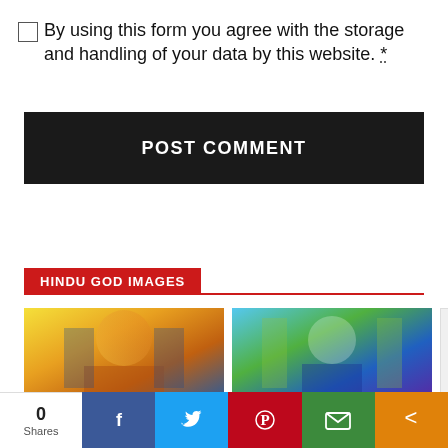By using this form you agree with the storage and handling of your data by this website. *
POST COMMENT
HINDU GOD IMAGES
[Figure (photo): Two Hindu god images side by side, and a reCAPTCHA widget]
[Figure (infographic): Social share bar with 0 Shares, Facebook, Twitter, Pinterest, Email, More buttons]